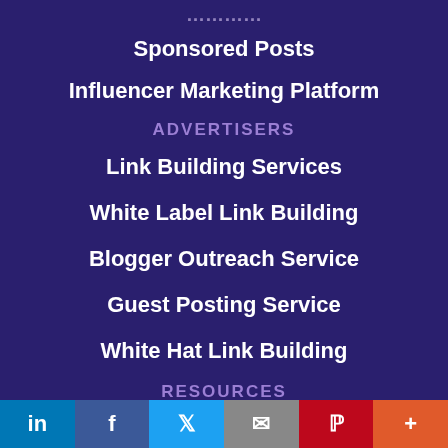Sponsored Posts
Influencer Marketing Platform
ADVERTISERS
Link Building Services
White Label Link Building
Blogger Outreach Service
Guest Posting Service
White Hat Link Building
RESOURCES
Blog
in  f  Twitter  Email  Pinterest  +